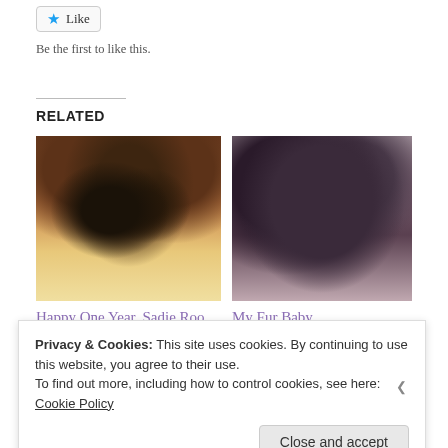★ Like
Be the first to like this.
RELATED
[Figure (photo): Close-up photo of a dog face, brown and tan coloring, looking upward]
[Figure (photo): Close-up photo of a fluffy dark/grey cat]
Happy One Year, Sadie Roo
July 13, 2022
My Fur Baby
January 23, 2020
[Figure (photo): Partially visible photo at bottom left, brown/orange tones]
Privacy & Cookies: This site uses cookies. By continuing to use this website, you agree to their use.
To find out more, including how to control cookies, see here:
Cookie Policy
Close and accept